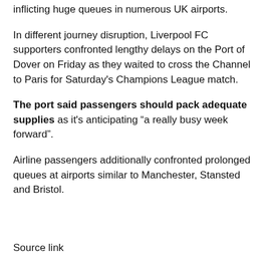inflicting huge queues in numerous UK airports.
In different journey disruption, Liverpool FC supporters confronted lengthy delays on the Port of Dover on Friday as they waited to cross the Channel to Paris for Saturday's Champions League match.
The port said passengers should pack adequate supplies as it's anticipating “a really busy week forward”.
Airline passengers additionally confronted prolonged queues at airports similar to Manchester, Stansted and Bristol.
Source link